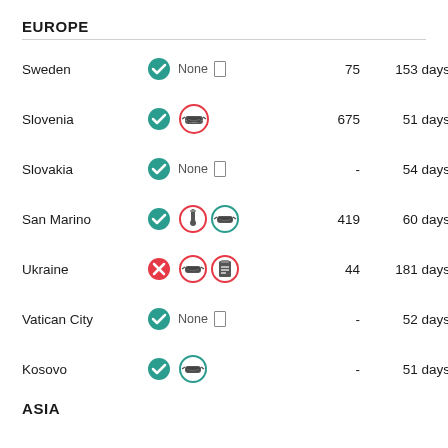EUROPE
| Country | Entry | Requirements | Cases/100k | Duration |
| --- | --- | --- | --- | --- |
| Sweden | Yes | None | 75 | 153 days |
| Slovenia | Yes | Mask | 675 | 51 days |
| Slovakia | Yes | None | - | 54 days |
| San Marino | Yes | Test + Mask | 419 | 60 days |
| Ukraine | No | Mask + Form | 44 | 181 days |
| Vatican City | Yes | None | - | 52 days |
| Kosovo | Yes | Mask | - | 51 days |
ASIA